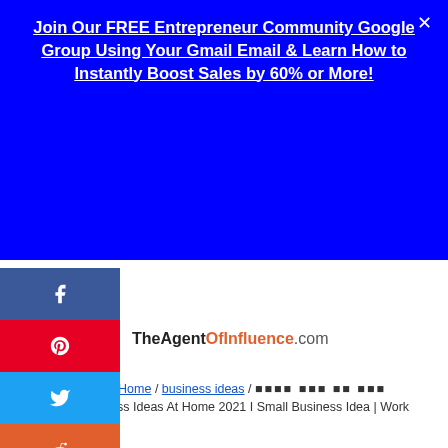[Figure (screenshot): Blue promotional banner with white bold underlined text: 'Join Our FREE Entrepreneur Community Google Group Using Your Gmail Email & Learn How to Instantly Boost Sales by 60% or More!' with a close X button]
[Figure (infographic): Vertical stack of social share buttons: Facebook (blue), Pinterest (red), Twitter (light blue), Reddit (orange)]
TheAgentOfInfluence.com
You are here: Home / business ideas / 🟥🟥🟥🟥 🟥🟥🟥 🟥🟥 🟥🟥🟥 🟥🟥🟥 | Business Ideas At Home 2021 I Small Business Idea | Work From Home
How to Make 6 Figures in 6 Months on